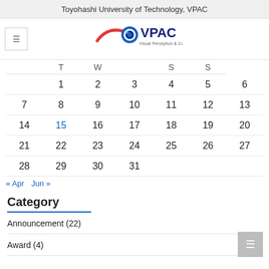Toyohashi University of Technology, VPAC
[Figure (logo): VPAC logo — Visual Perception & Cognition, with stylized eye and red arc]
|  | T | W |  | S | S |
| --- | --- | --- | --- | --- | --- |
|  | 1 | 2 | 3 | 4 | 5 | 6 |
| 7 | 8 | 9 | 10 | 11 | 12 | 13 |
| 14 | 15 | 16 | 17 | 18 | 19 | 20 |
| 21 | 22 | 23 | 24 | 25 | 26 | 27 |
| 28 | 29 | 30 | 31 |  |  |  |
« Apr   Jun »
Category
Announcement (22)
Award (4)